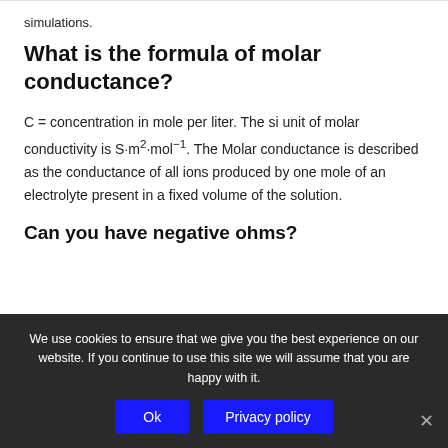simulations.
What is the formula of molar conductance?
C = concentration in mole per liter. The si unit of molar conductivity is S·m²·mol⁻¹. The Molar conductance is described as the conductance of all ions produced by one mole of an electrolyte present in a fixed volume of the solution.
Can you have negative ohms?
We use cookies to ensure that we give you the best experience on our website. If you continue to use this site we will assume that you are happy with it.